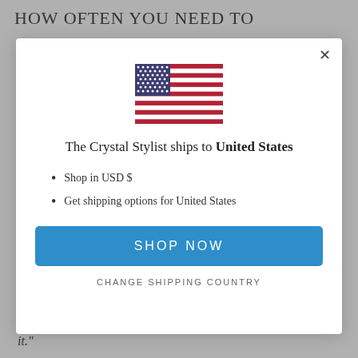HOW OFTEN YOU NEED TO
[Figure (screenshot): Modal dialog showing US flag, text 'The Crystal Stylist ships to United States', bullet points 'Shop in USD $' and 'Get shipping options for United States', a blue 'SHOP NOW' button, and a 'CHANGE SHIPPING COUNTRY' link.]
it."